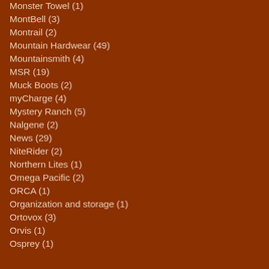Monster Towel (1)
MontBell (3)
Montrail (2)
Mountain Hardwear (49)
Mountainsmith (4)
MSR (19)
Muck Boots (2)
myCharge (4)
Mystery Ranch (5)
Nalgene (2)
News (29)
NiteRider (2)
Northern Lites (1)
Omega Pacific (2)
ORCA (1)
Organization and storage (1)
Ortovox (3)
Orvis (1)
Osprey (1)